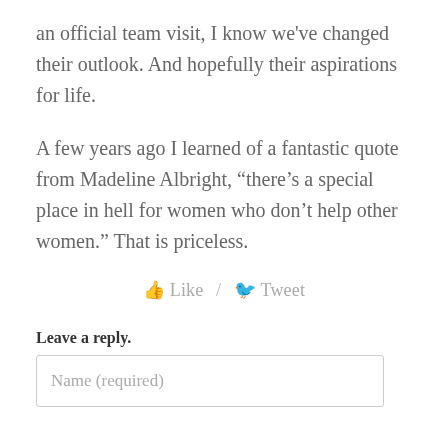an official team visit, I know we've changed their outlook. And hopefully their aspirations for life.
A few years ago I learned of a fantastic quote from Madeline Albright, “there’s a special place in hell for women who don’t help other women.” That is priceless.
👍 Like / 🐦 Tweet
Leave a reply.
Name (required)